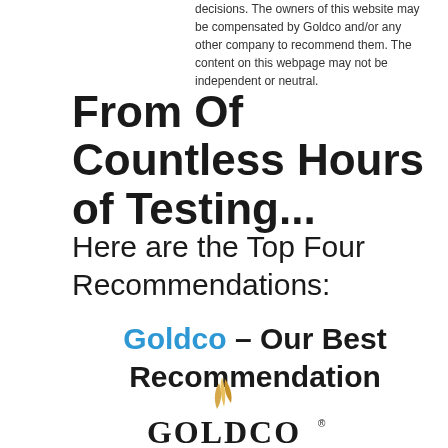decisions. The owners of this website may be compensated by Goldco and/or any other company to recommend them. The content on this webpage may not be independent or neutral.
From Of Countless Hours of Testing...
Here are the Top Four Recommendations:
Goldco – Our Best Recommendation
[Figure (logo): Goldco logo with stylized flame/leaf and text GOLDCO with registered trademark symbol]